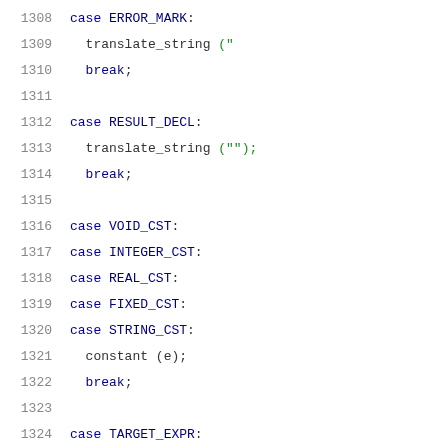1308  case ERROR_MARK:
1309    translate_string ("<erroneous-expression>"
1310    break;
1311
1312  case RESULT_DECL:
1313    translate_string ("<return-value>");
1314    break;
1315
1316  case VOID_CST:
1317  case INTEGER_CST:
1318  case REAL_CST:
1319  case FIXED_CST:
1320  case STRING_CST:
1321    constant (e);
1322    break;
1323
1324  case TARGET_EXPR:
1325    pp_c_ws_string (this, "__builtin_memcpy")
1326    pp_c_left_paren (this);
1327    pp_ampersand (this);
1328    primary_expression (TREE_OPERAND (e, 0));